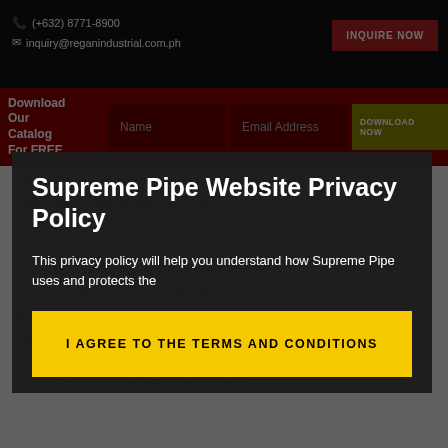(+632) 8771-8900 | inquiry@reganindustrial.com.ph | INQUIRE NOW
Download Our Catalog For FREE | Name | Email Address | DOWNLOAD NOW
Plastic piping is also an option but is only ... most recommended gas piping material to use.
Supreme Pipe Website Privacy Policy
This privacy policy will help you understand how Supreme Pipe uses and protects the
I AGREE TO THE TERMS AND CONDITIONS
find the correct sizing for your pipe. To do so you need to factor in your gas needs, the number of